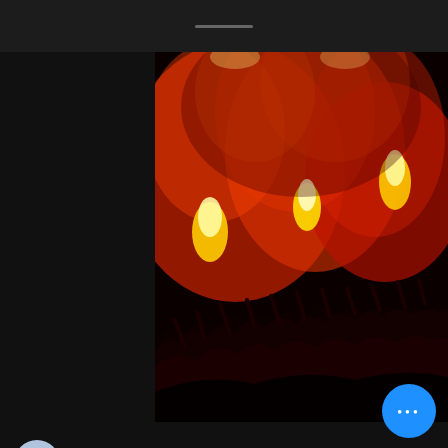[Figure (photo): Concert crowd with flares and torches, silhouetted audience against red and orange smoke and fire, dark sky above]
Admin 👑
Mar 2, 2018 · 1 min
2018 Europe Tour dates announced
Create a blog post subtitle that